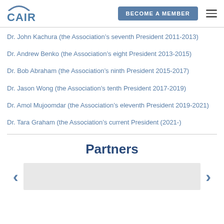CAIR | BECOME A MEMBER
Dr. John Kachura (the Association’s seventh President 2011-2013)
Dr. Andrew Benko (the Association’s eight President 2013-2015)
Dr. Bob Abraham (the Association’s ninth President 2015-2017)
Dr. Jason Wong (the Association’s tenth President 2017-2019)
Dr. Amol Mujoomdar (the Association’s eleventh President 2019-2021)
Dr. Tara Graham (the Association’s current President (2021-)
Partners